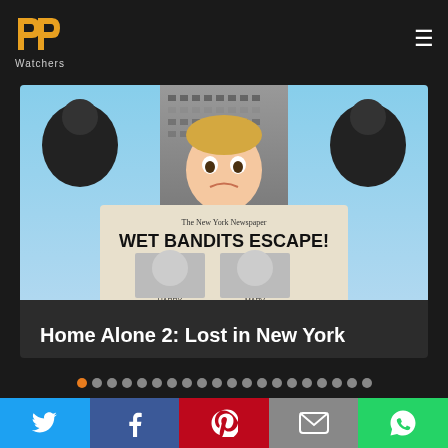[Figure (logo): PP Watchers logo - two golden P letters with 'Watchers' text below]
[Figure (photo): Home Alone 2: Lost in New York movie poster - boy holding newspaper reading 'WET BANDITS ESCAPE!' with skyscraper background]
Home Alone 2: Lost in New York
[Figure (other): Carousel navigation dots - one orange active dot followed by many grey dots]